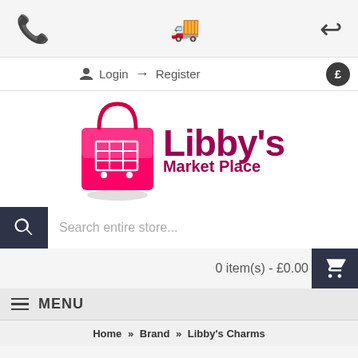[Figure (infographic): Top navigation bar with three icons: telephone, delivery truck, and return arrow]
Login → Register £
[Figure (logo): Libby's Market Place logo with pink shopping bag and dark pink brand name text]
Search entire store...
0 item(s) - £0.00
≡ MENU
Home » Brand » Libby's Charms